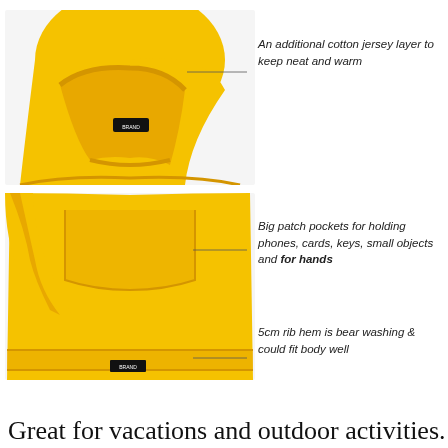[Figure (photo): Product detail photo of a yellow hoodie sweatshirt shown in two panels: top panel shows the hood interior with a black brand label, bottom panel shows the front pocket area and hem with a black brand label. Callout lines point to key features with annotation text.]
An additional cotton jersey layer to keep neat and warm
Big patch pockets for holding phones, cards, keys, small objects and for hands
5cm rib hem is bear washing & could fit body well
Great for vacations and outdoor activities. Our